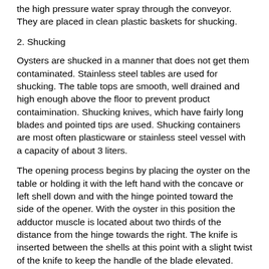the high pressure water spray through the conveyor. They are placed in clean plastic baskets for shucking.
2. Shucking
Oysters are shucked in a manner that does not get them contaminated. Stainless steel tables are used for shucking. The table tops are smooth, well drained and high enough above the floor to prevent product contaimination. Shucking knives, which have fairly long blades and pointed tips are used. Shucking containers are most often plasticware or stainless steel vessel with a capacity of about 3 liters.
The opening process begins by placing the oyster on the table or holding it with the left hand with the concave or left shell down and with the hinge pointed toward the side of the opener. With the oyster in this position the adductor muscle is located about two thirds of the distance from the hinge towards the right. The knife is inserted between the shells at this point with a slight twist of the knife to keep the handle of the blade elevated. After the knife point has entered, moving the knife to the right and to the left will cut the adductor muscle on the flat or right shell. The knife is then turned until the blade is vertical. A prying motion will break the hold of the hinge to separate the two shells. Next, the adductor muscle on the other shell is cut and the oyster meat is flipped into the shucking pail.
Careful attention must be paid when the knife is slipped into the shell so that the knife blade will be against one shell or the